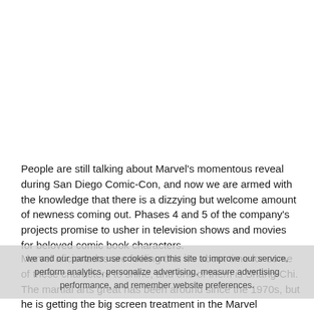People are still talking about Marvel's momentous reveal during San Diego Comic-Con, and now we are armed with the knowledge that there is a dizzying but welcome amount of newness coming out. Phases 4 and 5 of the company's projects promise to usher in television shows and movies for beloved comic book characters.
Marvel aficionados are feeling that it's about time for some of these characters to shine, and one of them is Shang-Chi. The martial arts great has been around since the 1970s, but he is getting the big screen treatment in the Marvel Cinematic Universe with Shang-Chi and the Legend of the Ten Rings. For those who are uninitiated in the world of Shang-Chi, here's a look at who he is and how his story connects with other Marvel heroes.
we and our partners use cookies on this site to improve our service, perform analytics, personalize advertising, measure advertising performance, and remember website preferences.